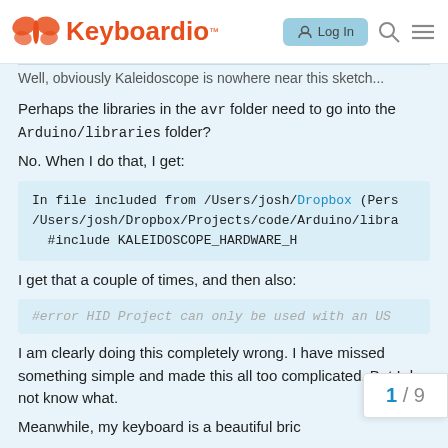Keyboardio — Log In
Well, obviously Kaleidoscope is nowhere near this sketch...
Perhaps the libraries in the avr folder need to go into the Arduino/libraries folder?
No. When I do that, I get:
In file included from /Users/josh/Dropbox (Pers
/Users/josh/Dropbox/Projects/code/Arduino/libra
  #include KALEIDOSCOPE_HARDWARE_H
I get that a couple of times, and then also:
#error HID Project can only be used with an US
I am clearly doing this completely wrong. I have missed something simple and made this all too complicated. But I do not know what.
Meanwhile, my keyboard is a beautiful bric
1 / 9